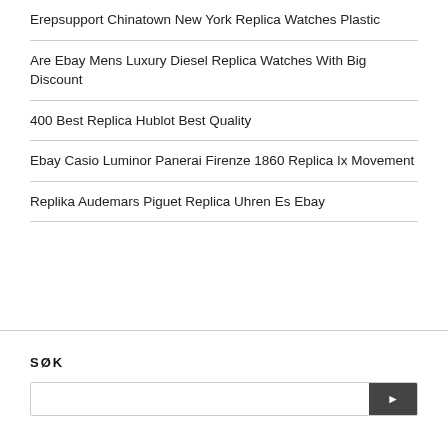Erepsupport Chinatown New York Replica Watches Plastic
Are Ebay Mens Luxury Diesel Replica Watches With Big Discount
400 Best Replica Hublot Best Quality
Ebay Casio Luminor Panerai Firenze 1860 Replica Ix Movement
Replika Audemars Piguet Replica Uhren Es Ebay
SØK